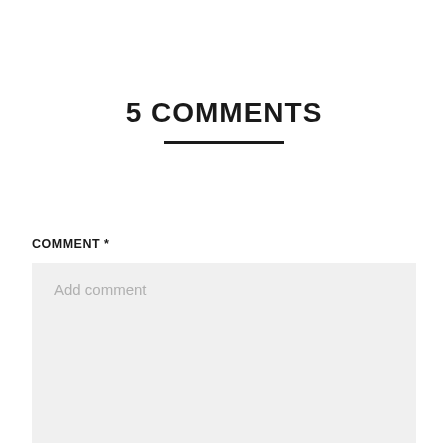5 COMMENTS
COMMENT *
Add comment